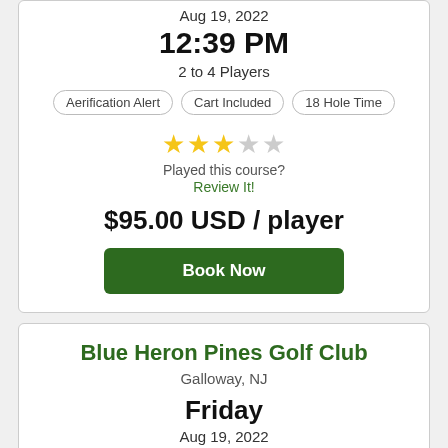Aug 19, 2022
12:39 PM
2 to 4 Players
Aerification Alert | Cart Included | 18 Hole Time
[Figure (other): 3 out of 5 gold stars rating]
Played this course?
Review It!
$95.00 USD / player
Book Now
Blue Heron Pines Golf Club
Galloway, NJ
Friday
Aug 19, 2022
12:48 PM